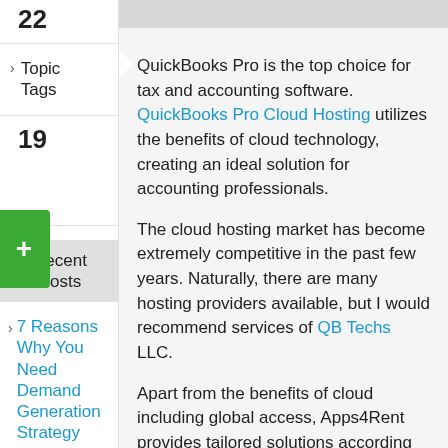22
Topic Tags
19
Recent Posts
7 Reasons Why You Need Demand Generation Strategy
QuickBooks Pro is the top choice for tax and accounting software. QuickBooks Pro Cloud Hosting utilizes the benefits of cloud technology, creating an ideal solution for accounting professionals.
The cloud hosting market has become extremely competitive in the past few years. Naturally, there are many hosting providers available, but I would recommend services of QB Techs LLC.
Apart from the benefits of cloud including global access, Apps4Rent provides tailored solutions according to client's requirements. Migrating your data on QuickBooks Pro cloud is easier with round-the-clock